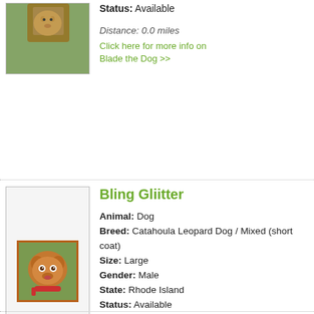[Figure (photo): Partial photo of a dog (top portion cut off), shown in a bordered box — top section]
Status: Available
Distance: 0.0 miles
Click here for more info on Blade the Dog >>
Bling Gliitter
Animal: Dog
Breed: Catahoula Leopard Dog / Mixed (short coat)
Size: Large
Gender: Male
State: Rhode Island
Status: Available
Distance: 0.0 miles
Click here for more info on Bling Gliitter the Dog >>
[Figure (photo): Photo of a brown puppy with a red collar, shown inside an orange/brown bordered frame in the lower section]